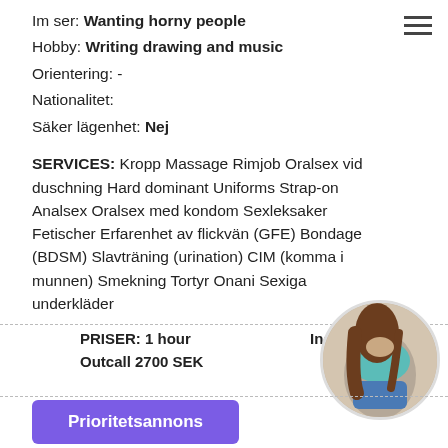Im ser: Wanting horny people
Hobby: Writing drawing and music
Orientering: -
Nationalitet:
Säker lägenhet: Nej
SERVICES: Kropp Massage Rimjob Oralsex vid duschning Hard dominant Uniforms Strap-on Analsex Oralsex med kondom Sexleksaker Fetischer Erfarenhet av flickvän (GFE) Bondage (BDSM) Slavträning (urination) CIM (komma i munnen) Smekning Tortyr Onani Sexiga underkläder
PRISER: 1 hour Outcall 2700 SEK
Incall 1900 SEK
[Figure (photo): Circular cropped photo of a person from behind wearing a light blue top and denim shorts]
Prioritetsannons